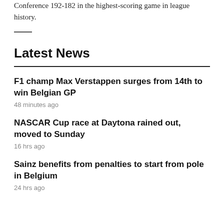Conference 192-182 in the highest-scoring game in league history.
Latest News
F1 champ Max Verstappen surges from 14th to win Belgian GP
48 minutes ago
NASCAR Cup race at Daytona rained out, moved to Sunday
16 hrs ago
Sainz benefits from penalties to start from pole in Belgium
24 hrs ago